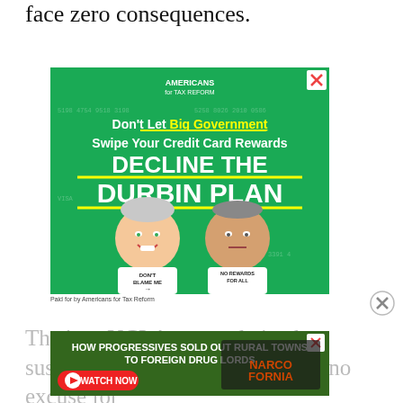face zero consequences.
[Figure (illustration): Advertisement: 'Americans for Tax Reform' — Don't Let Big Government Swipe Your Credit Card Rewards. DECLINE THE DURBIN PLAN. Features caricatures of Biden and Durbin with 'DON'T BLAME ME' and 'NO REWARDS FOR ALL' shirts. Paid for by Americans for Tax Reform.]
[Figure (illustration): Advertisement: Narcofornia — How Progressives Sold Out Rural Towns to Foreign Drug Lords. Watch Now button.]
That's ... UCLA ... people in ch... suspended a game. There's imply no excuse for